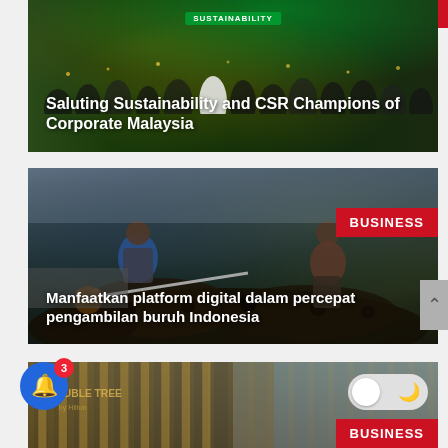[Figure (photo): Group of people on stage at a sustainability awards ceremony with green-lit 'SUSTAINABILITY' banner in background]
Saluting Sustainability and CSR Champions of Corporate Malaysia
[Figure (photo): Two workers harvesting palm oil fruit bunches, one in blue shirt, one in brown, with large pile of black palm fruit in foreground and cloudy sky in background]
BUSINESS
Manfaatkan platform digital dalam percepat pengambilan buruh Indonesia
[Figure (photo): Partial view of a tall building/hotel (Double Tree) with golden columns and blue sky]
BUSINESS